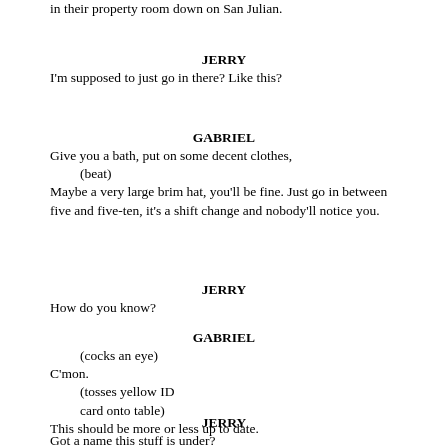in their property room down on San Julian.
JERRY
I'm supposed to just go in there? Like this?
GABRIEL
Give you a bath, put on some decent clothes,
(beat)
Maybe a very large brim hat, you'll be fine. Just go in between five and five-ten, it's a shift change and nobody'll notice you.
JERRY
How do you know?
GABRIEL
(cocks an eye)
C'mon.
(tosses yellow ID card onto table)
This should be more or less up to date.
JERRY
Got a name this stuff is under?